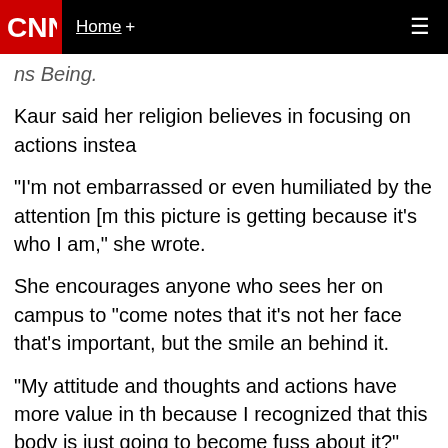CNN | Home +
ns Being.
Kaur said her religion believes in focusing on actions instea
"I'm not embarrassed or even humiliated by the attention [m this picture is getting because it's who I am," she wrote.
She encourages anyone who sees her on campus to "come notes that it's not her face that's important, but the smile an behind it.
"My attitude and thoughts and actions have more value in th because I recognized that this body is just going to become fuss about it?"
Her response led to more discussion on Reddit.
"Just want to thank Balpreet Kaur for serving as an exampl deal with hostility and ignorance. Thank you, Balpreet, you a
"I wish I could hug this woman. She makes my heart happy